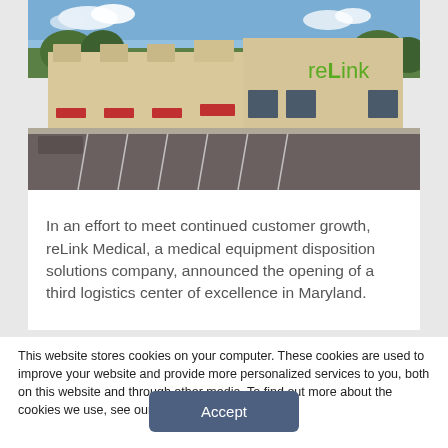[Figure (photo): Exterior photo of a reLink Medical warehouse/logistics building with a large parking lot in the foreground, trees in the background, and the green 'reLink' logo visible on the building facade.]
In an effort to meet continued customer growth, reLink Medical, a medical equipment disposition solutions company, announced the opening of a third logistics center of excellence in Maryland.
This website stores cookies on your computer. These cookies are used to improve your website and provide more personalized services to you, both on this website and through other media. To find out more about the cookies we use, see our Privacy Policy.